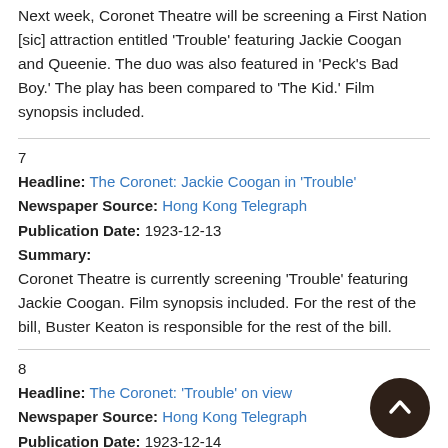Next week, Coronet Theatre will be screening a First Nation [sic] attraction entitled 'Trouble' featuring Jackie Coogan and Queenie. The duo was also featured in 'Peck's Bad Boy.' The play has been compared to 'The Kid.' Film synopsis included.
7
Headline: The Coronet: Jackie Coogan in 'Trouble'
Newspaper Source: Hong Kong Telegraph
Publication Date: 1923-12-13
Summary:
Coronet Theatre is currently screening 'Trouble' featuring Jackie Coogan. Film synopsis included. For the rest of the bill, Buster Keaton is responsible for the rest of the bill.
8
Headline: The Coronet: 'Trouble' on view
Newspaper Source: Hong Kong Telegraph
Publication Date: 1923-12-14
Summary:
Coronet Theatre is currently screening 'Trouble' featuring Jackie Coogan. The film promises to appeal to grown-ups as much as if